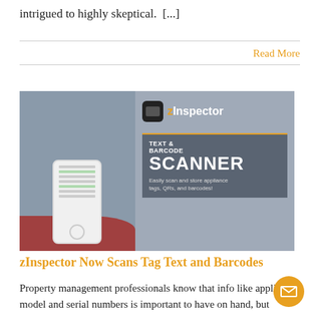intrigued to highly skeptical.  [...]
Read More
[Figure (photo): zInspector app advertisement showing a hand holding a smartphone with the zInspector app, banner reading TEXT & BARCODE SCANNER, Easily scan and store appliance tags, QRs, and barcodes!]
zInspector Now Scans Tag Text and Barcodes
Property management professionals know that info like appliance model and serial numbers is important to have on hand, but reading and transcribing those gibberish tags can be a challenge, to say [...]